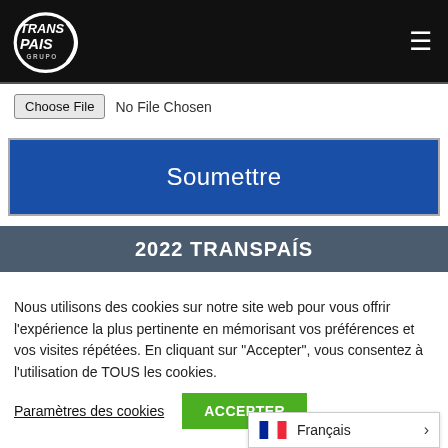[Figure (logo): TransPaís Grupo logo — white text on dark background with circular swoosh graphic]
≡
Choose File  No File Chosen
Soumettre
2022 TRANSPAÍS
Nous utilisons des cookies sur notre site web pour vous offrir l'expérience la plus pertinente en mémorisant vos préférences et vos visites répétées. En cliquant sur "Accepter", vous consentez à l'utilisation de TOUS les cookies.
Paramètres des cookies
ACCEPTER
Français >